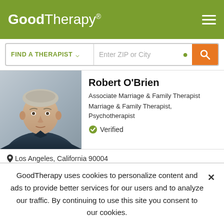GoodTherapy®
FIND A THERAPIST  ˅    Enter ZIP or City
[Figure (photo): Headshot photo of Robert O'Brien, a man with short gray-blond hair wearing a dark blue polo shirt, looking directly at camera]
Robert O'Brien
Associate Marriage & Family Therapist
Marriage & Family Therapist, Psychotherapist
✓ Verified
Los Angeles, California 90004
Therapy can help us see the unconscious patterns of behavior we unknowingly live our lives within. It is also where we can explore our hidden selves and learn how to examine what it means to be both
GoodTherapy uses cookies to personalize content and ads to provide better services for our users and to analyze our traffic. By continuing to use this site you consent to our cookies.